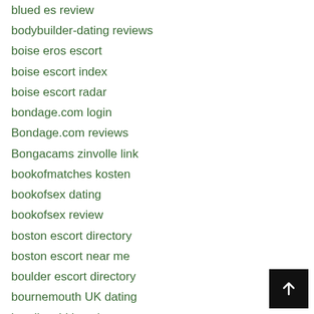blued es review
bodybuilder-dating reviews
boise eros escort
boise escort index
boise escort radar
bondage.com login
Bondage.com reviews
Bongacams zinvolle link
bookofmatches kosten
bookofsex dating
bookofsex review
boston escort directory
boston escort near me
boulder escort directory
bournemouth UK dating
brazilcupid it reviews
brazilcupid sito di incontri
brazilcupid visitors
brides